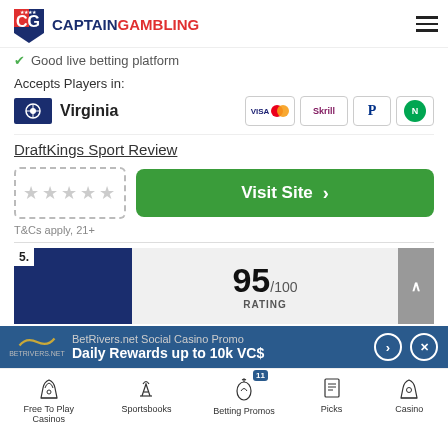CaptainGambling
Good live betting platform
Accepts Players in: Virginia
DraftKings Sport Review
Visit Site
T&Cs apply, 21+
5. 95/100 RATING
BetRivers.net Social Casino Promo Daily Rewards up to 10k VC$
Free To Play Casinos | Sportsbooks | Betting Promos | Picks | Casino